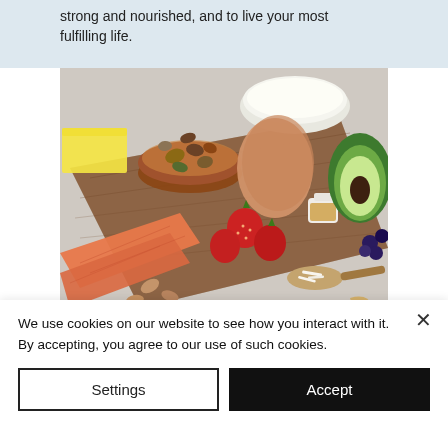strong and nourished, and to live your most fulfilling life.
[Figure (photo): Overhead view of healthy foods on a wooden cutting board including butter, a bowl of mixed nuts, eggs, an avocado, strawberries, blueberries, salmon fillets, almonds, a small jar of oil, shredded coconut in a spoon, and a small pitcher of cream, on a light marble background.]
We use cookies on our website to see how you interact with it. By accepting, you agree to our use of such cookies.
Settings
Accept